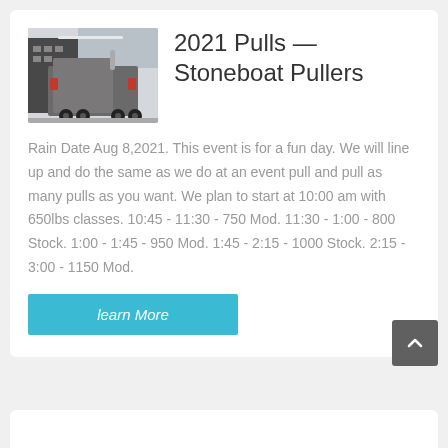[Figure (photo): Rear view of a semi-truck/tractor unit in a parking lot]
2021 Pulls — Stoneboat Pullers
Rain Date Aug 8,2021. This event is for a fun day. We will line up and do the same as we do at an event pull and pull as many pulls as you want. We plan to start at 10:00 am with 650lbs classes. 10:45 - 11:30 - 750 Mod. 11:30 - 1:00 - 800 Stock. 1:00 - 1:45 - 950 Mod. 1:45 - 2:15 - 1000 Stock. 2:15 - 3:00 - 1150 Mod.
learn More